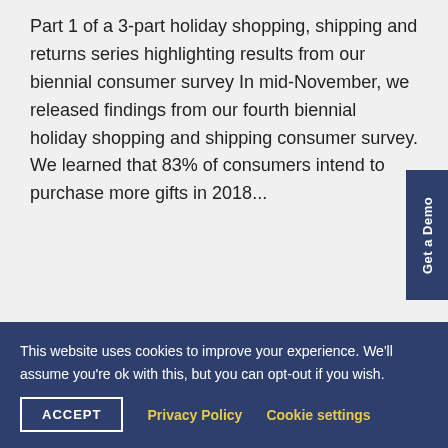Part 1 of a 3-part holiday shopping, shipping and returns series highlighting results from our biennial consumer survey In mid-November, we released findings from our fourth biennial holiday shopping and shipping consumer survey.  We learned that 83% of consumers intend to purchase more gifts in 2018...
Get a Demo
This website uses cookies to improve your experience. We'll assume you're ok with this, but you can opt-out if you wish.